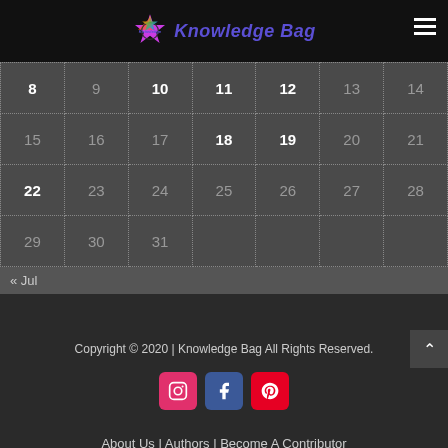[Figure (logo): Knowledge Bag logo with colorful star and italic text]
| 8 | 9 | 10 | 11 | 12 | 13 | 14 |
| 15 | 16 | 17 | 18 | 19 | 20 | 21 |
| 22 | 23 | 24 | 25 | 26 | 27 | 28 |
| 29 | 30 | 31 |  |  |  |  |
« Jul
Copyright © 2020 | Knowledge Bag All Rights Reserved.
[Figure (logo): Instagram, Facebook, Pinterest social media icons]
About Us | Authors | Become A Contributor